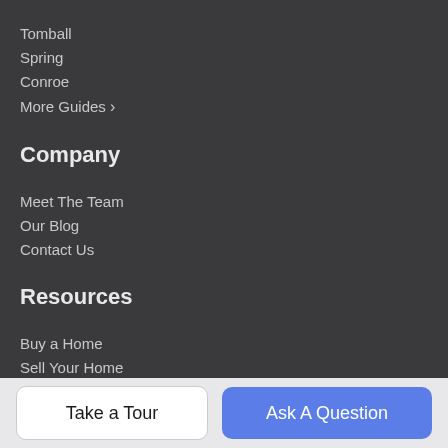Tomball
Spring
Conroe
More Guides >
Company
Meet The Team
Our Blog
Contact Us
Resources
Buy a Home
Sell Your Home
Finance
The Woodlands Relocation Guide
Take a Tour
Ask A Question